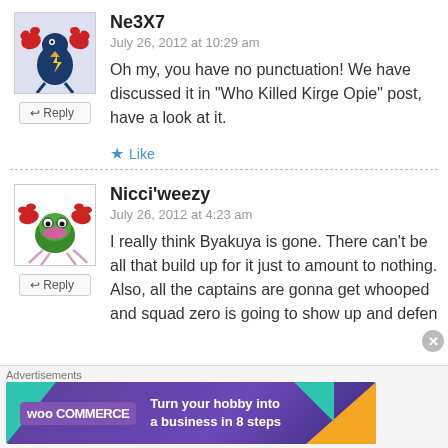[Figure (illustration): Avatar of user Ne3X7: cartoon crab-bird character with red claws and blue body on light background]
Ne3X7
July 26, 2012 at 10:29 am
Oh my, you have no punctuation! We have discussed it in “Who Killed Kirge Opie” post, have a look at it.
★ Like
[Figure (illustration): Avatar of user Nicci'weezy: cartoon green crab character with pink accessories on white background]
Nicci'weezy
July 26, 2012 at 4:23 am
I really think Byakuya is gone. There can't be all that build up for it just to amount to nothing. Also, all the captains are gonna get whooped and squad zero is going to show up and defen
Advertisements
[Figure (screenshot): WooCommerce advertisement banner: Turn your hobby into a business in 8 steps]